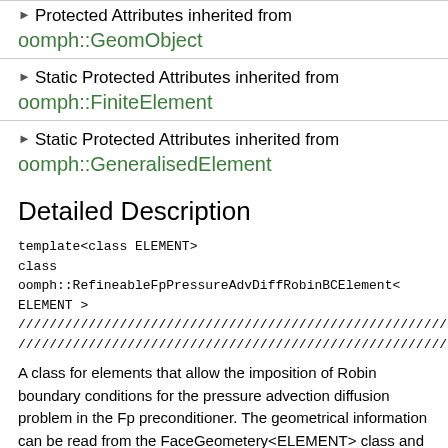▶ Protected Attributes inherited from oomph::GeomObject
▶ Static Protected Attributes inherited from oomph::FiniteElement
▶ Static Protected Attributes inherited from oomph::GeneralisedElement
Detailed Description
template<class ELEMENT>
class oomph::RefineableFpPressureAdvDiffRobinBCElement< ELEMENT >
////////////////////////////////////////////////////////////////////////
////////////////////////////////////////////////////////////////////////
A class for elements that allow the imposition of Robin boundary conditions for the pressure advection diffusion problem in the Fp preconditioner. The geometrical information can be read from the FaceGeometery<ELEMENT> class and and thus, we can be generic enough without the need to have a separate equations class...